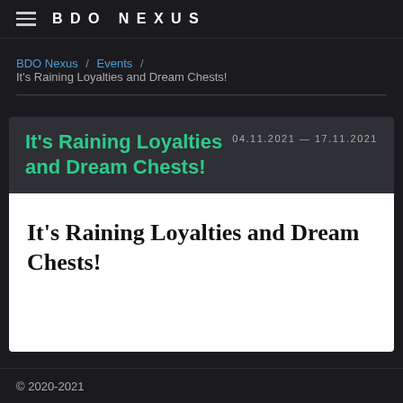BDO NEXUS
BDO Nexus / Events / It’s Raining Loyalties and Dream Chests!
It’s Raining Loyalties and Dream Chests!
04.11.2021 — 17.11.2021
It’s Raining Loyalties and Dream Chests!
© 2020-2021